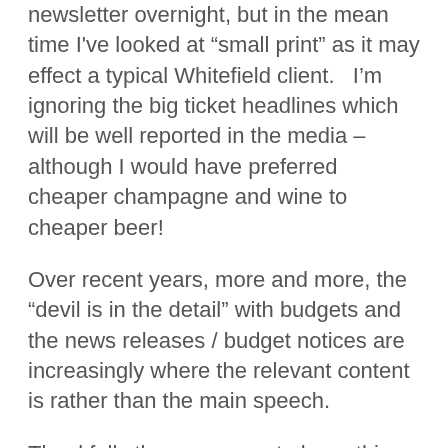newsletter overnight, but in the mean time I've looked at “small print” as it may effect a typical Whitefield client.   I’m ignoring the big ticket headlines which will be well reported in the media – although I would have preferred cheaper champagne and wine to cheaper beer!
Over recent years, more and more, the “devil is in the detail” with budgets and the news releases / budget notices are increasingly where the relevant content is rather than the main speech.
Thankfully there appears to be nothing horrid in todays budget papers.  A few things of interest:
~ IR35 – nothing of note.   Confirmation that